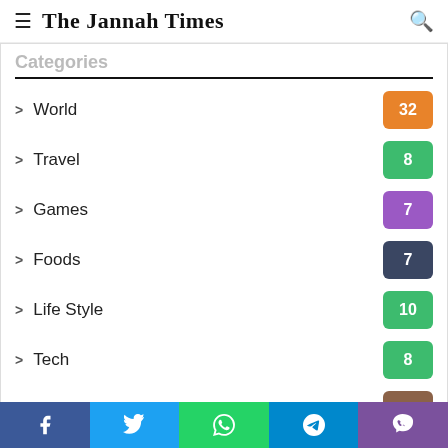The Jannah Times
Categories
> World  32
> Travel  8
> Games  7
> Foods  7
> Life Style  10
> Tech  8
> Business  7
> Uncategorized  1
Newsletter